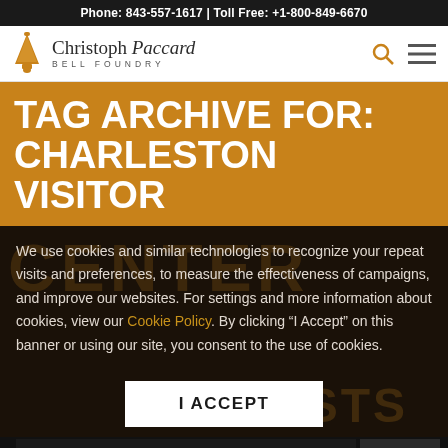Phone: 843-557-1617 | Toll Free: +1-800-849-6670
[Figure (logo): Christoph Paccard Bell Foundry logo with bell icon]
TAG ARCHIVE FOR: CHARLESTON VISITOR
We use cookies and similar technologies to recognize your repeat visits and preferences, to measure the effectiveness of campaigns, and improve our websites. For settings and more information about cookies, view our Cookie Policy. By clicking “I Accept” on this banner or using our site, you consent to the use of cookies.
I ACCEPT